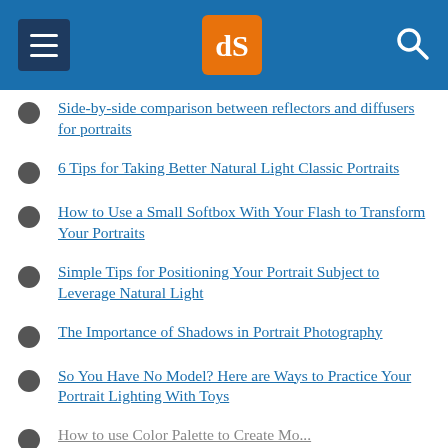dPS navigation header with menu, logo, and search
Side-by-side comparison between reflectors and diffusers for portraits
6 Tips for Taking Better Natural Light Classic Portraits
How to Use a Small Softbox With Your Flash to Transform Your Portraits
Simple Tips for Positioning Your Portrait Subject to Leverage Natural Light
The Importance of Shadows in Portrait Photography
So You Have No Model? Here are Ways to Practice Your Portrait Lighting With Toys
How to use Color Palette to Create Mood (partially visible)